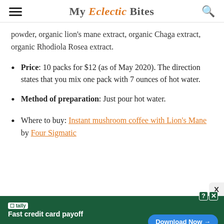My Eclectic Bites
powder, organic lion's mane extract, organic Chaga extract, organic Rhodiola Rosea extract.
Price: 10 packs for $12 (as of May 2020). The direction states that you mix one pack with 7 ounces of hot water.
Method of preparation: Just pour hot water.
Where to buy: Instant mushroom coffee with Lion's Mane by Four Sigmatic
[Figure (screenshot): Tally advertisement banner: Fast credit card payoff, Download Now button, green background]